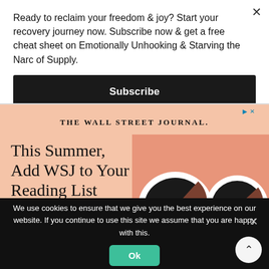Ready to reclaim your freedom & joy? Start your recovery journey now. Subscribe now & get a free cheat sheet on Emotionally Unhooking & Starving the Narc of Supply.
Subscribe
[Figure (infographic): Wall Street Journal advertisement with peach background, WSJ logo, text 'This Summer, Add WSJ to Your Reading List', and illustration of sunglasses]
We use cookies to ensure that we give you the best experience on our website. If you continue to use this site we assume that you are happy with this.
Ok